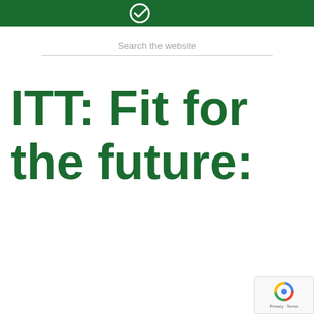[Figure (logo): Green header bar with white logo/icon (checkmark-like symbol)]
Search the website
ITT: Fit for the future: